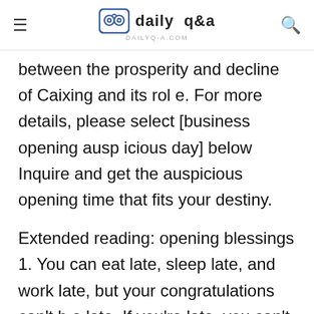daily q&a — dailyq-a.com
between the prosperity and decline of Caixing and its role. For more details, please select [business opening auspicious day] below Inquire and get the auspicious opening time that fits your destiny.
Extended reading: opening blessings 1. You can eat late, sleep late, and work late, but your congratulations can't be late. If you're late, you can't seize the opportunity. I wish you good luck in opening up! 2. Good luck in opening up! I wish your business is booming, prosperous and making money every day. 3. I wish you a prosperous career, a wide source of money and warm wishes Wish you prosperity and prosperity. On this beautiful day, I wish you a prosperous business and all the best.